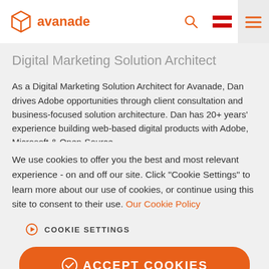[Figure (logo): Avanade logo with orange geometric hexagon icon and orange text 'avanade']
Digital Marketing Solution Architect
As a Digital Marketing Solution Architect for Avanade, Dan drives Adobe opportunities through client consultation and business-focused solution architecture. Dan has 20+ years' experience building web-based digital products with Adobe, Microsoft & Open-Source
We use cookies to offer you the best and most relevant experience - on and off our site. Click "Cookie Settings" to learn more about our use of cookies, or continue using this site to consent to their use. Our Cookie Policy
COOKIE SETTINGS
ACCEPT COOKIES